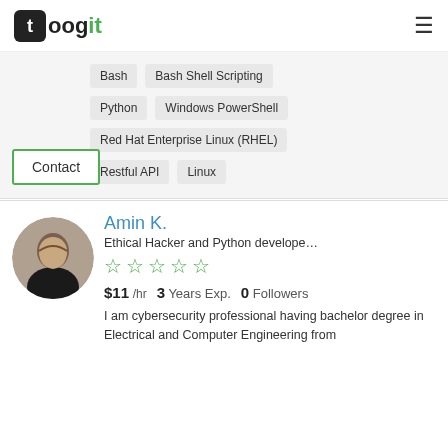toogit
Bash
Bash Shell Scripting
Python
Windows PowerShell
Red Hat Enterprise Linux (RHEL)
Restful API
Linux
Contact
Amin K.
Ethical Hacker and Python develope…
$11 /hr   3 Years Exp.   0 Followers
I am cybersecurity professional having bachelor degree in Electrical and Computer Engineering from